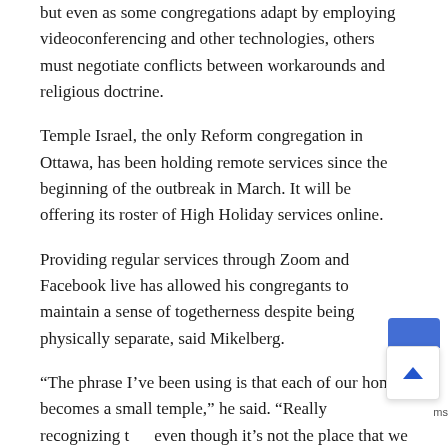but even as some congregations adapt by employing videoconferencing and other technologies, others must negotiate conflicts between workarounds and religious doctrine.
Temple Israel, the only Reform congregation in Ottawa, has been holding remote services since the beginning of the outbreak in March. It will be offering its roster of High Holiday services online.
Providing regular services through Zoom and Facebook live has allowed his congregants to maintain a sense of togetherness despite being physically separate, said Mikelberg.
“The phrase I’ve been using is that each of our homes becomes a small temple,” he said. “Really recognizing that even though it’s not the place that we typically associate with our spiritual home, the home where we eat, sleep and g…